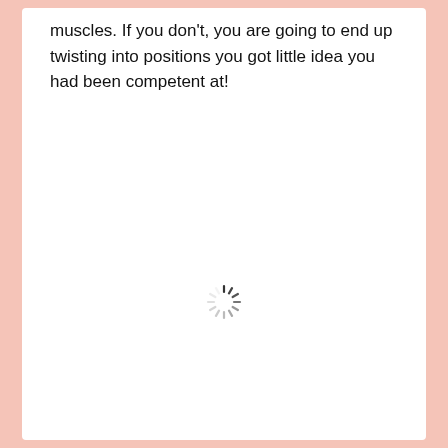muscles. If you don't, you are going to end up twisting into positions you got little idea you had been competent at!
[Figure (other): A loading spinner icon (circular dashed spinner) centered on the page]